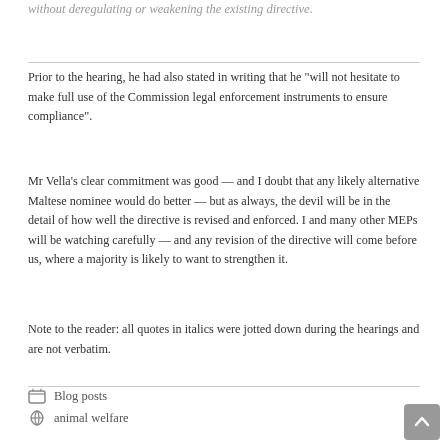without deregulating or weakening the existing directive.
Prior to the hearing, he had also stated in writing that he “will not hesitate to make full use of the Commission legal enforcement instruments to ensure compliance”.
Mr Vella’s clear commitment was good — and I doubt that any likely alternative Maltese nominee would do better — but as always, the devil will be in the detail of how well the directive is revised and enforced. I and many other MEPs will be watching carefully — and any revision of the directive will come before us, where a majority is likely to want to strengthen it.
Note to the reader: all quotes in italics were jotted down during the hearings and are not verbatim.
Blog posts
animal welfare